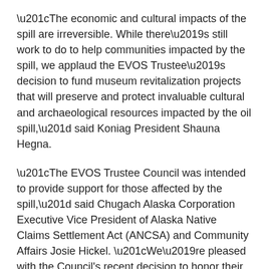“The economic and cultural impacts of the spill are irreversible. While there’s still work to do to help communities impacted by the spill, we applaud the EVOS Trustee’s decision to fund museum revitalization projects that will preserve and protect invaluable cultural and archaeological resources impacted by the oil spill,” said Koniag President Shauna Hegna.
“The EVOS Trustee Council was intended to provide support for those affected by the spill,” said Chugach Alaska Corporation Executive Vice President of Alaska Native Claims Settlement Act (ANCSA) and Community Affairs Josie Hickel. “We’re pleased with the Council’s recent decision to honor their mission to restore spill-affected areas, and to help support and grow local cultures, economies and communities.”
On March 24, 1989, the environment in Prince William Sound was forever changed when the Exxon Valdez